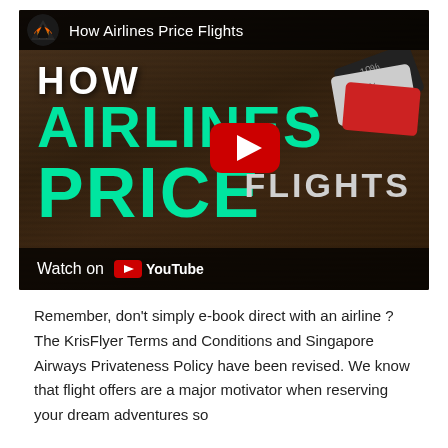[Figure (screenshot): YouTube video thumbnail/embed showing 'How Airlines Price Flights' with dark wood background, large green text reading 'HOW AIRLINES PRICE FLIGHTS', a red YouTube play button in the center, and a 'Watch on YouTube' bar at the bottom.]
Remember, don't simply e-book direct with an airline ? The KrisFlyer Terms and Conditions and Singapore Airways Privateness Policy have been revised. We know that flight offers are a major motivator when reserving your dream adventures so